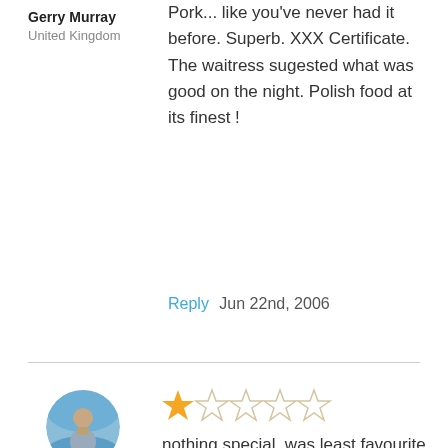Gerry Murray
United Kingdom
Pork... like you've never had it before. Superb. XXX Certificate. The waitress sugested what was good on the night. Polish food at its finest !
Reply  Jun 22nd, 2006
[Figure (illustration): Circular avatar photo of user sarah showing a person with sky/landscape background]
sarah
United Kingdom
[Figure (other): 1 out of 5 stars rating: one filled star and four empty stars]
nothing special. was least favourite of half a dozen restaurants we went to and while not the most expensive, we went to much cheaper. Booking is bizarre. We saw they turned people away when many